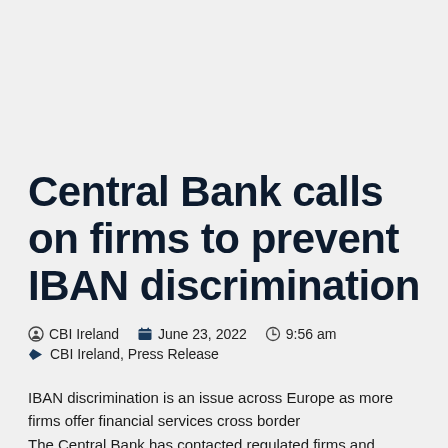Central Bank calls on firms to prevent IBAN discrimination
CBI Ireland  June 23, 2022  9:56 am  CBI Ireland, Press Release
IBAN discrimination is an issue across Europe as more firms offer financial services cross border
The Central Bank has contacted regulated firms and business representative bodies in Ireland to reinforce all organisations'